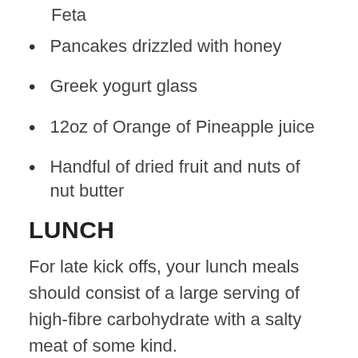Feta
Pancakes drizzled with honey
Greek yogurt glass
12oz of Orange of Pineapple juice
Handful of dried fruit and nuts of nut butter
LUNCH
For late kick offs, your lunch meals should consist of a large serving of high-fibre carbohydrate with a salty meat of some kind.